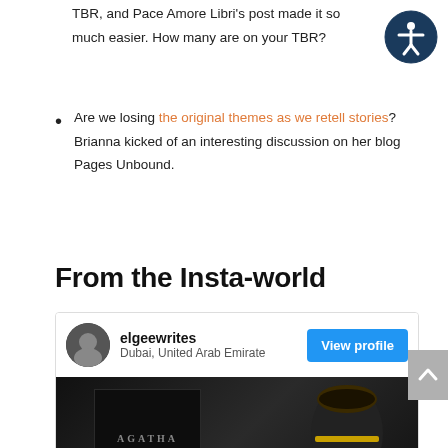TBR, and Pace Amore Libri's post made it so much easier. How many are on your TBR?
Are we losing the original themes as we retell stories? Brianna kicked of an interesting discussion on her blog Pages Unbound.
From the Insta-world
[Figure (screenshot): Instagram profile card for elgeewrites, Dubai, United Arab Emirate, with a View Profile button and a photo of an Agatha Christie book beside a decorative mug on a dark background.]